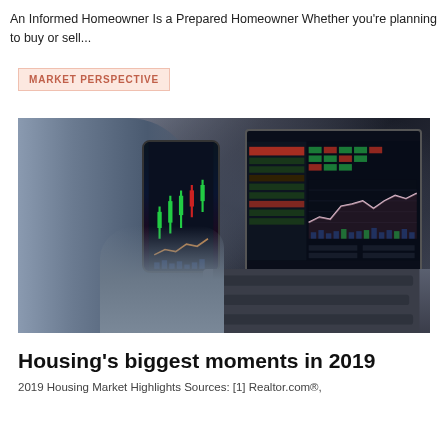An Informed Homeowner Is a Prepared Homeowner Whether you're planning to buy or sell...
MARKET PERSPECTIVE
[Figure (photo): Person looking at financial charts on a smartphone and laptop computer]
Housing's biggest moments in 2019
2019 Housing Market Highlights Sources: [1] Realtor.com®,